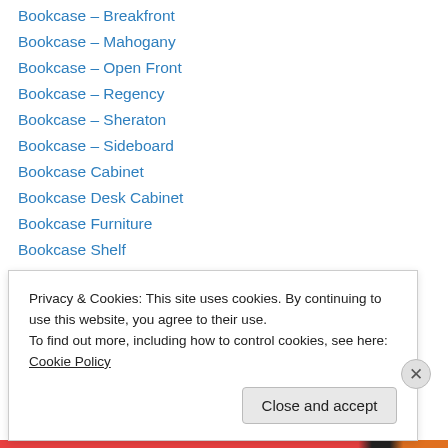Bookcase – Breakfront
Bookcase – Mahogany
Bookcase – Open Front
Bookcase – Regency
Bookcase – Sheraton
Bookcase – Sideboard
Bookcase Cabinet
Bookcase Desk Cabinet
Bookcase Furniture
Bookcase Shelf
Bookcases
Bookcases Shelf
Bookmark Clip
Bottle Holder
Privacy & Cookies: This site uses cookies. By continuing to use this website, you agree to their use.
To find out more, including how to control cookies, see here: Cookie Policy
Close and accept